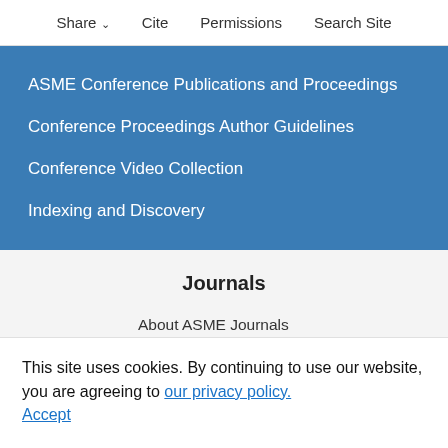Share  Cite  Permissions  Search Site
ASME Conference Publications and Proceedings
Conference Proceedings Author Guidelines
Conference Video Collection
Indexing and Discovery
Journals
About ASME Journals
Information for Authors
Submit a Paper
Call for Papers
Title History
Conference Proceedings
This site uses cookies. By continuing to use our website, you are agreeing to our privacy policy.
Accept